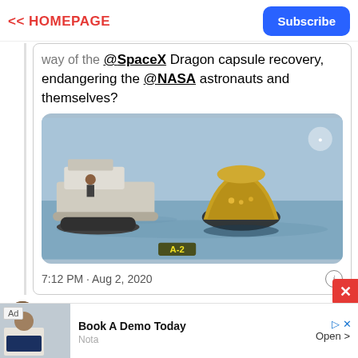<< HOMEPAGE | Subscribe
way of the @SpaceX Dragon capsule recovery, endangering the @NASA astronauts and themselves?
[Figure (photo): Photo of SpaceX Dragon capsule floating in ocean water next to recovery boats, with label 'A-2' at bottom]
7:12 PM · Aug 2, 2020
Read the full conversation on Twitter
Ad  Book A Demo Today  Nota  Open >